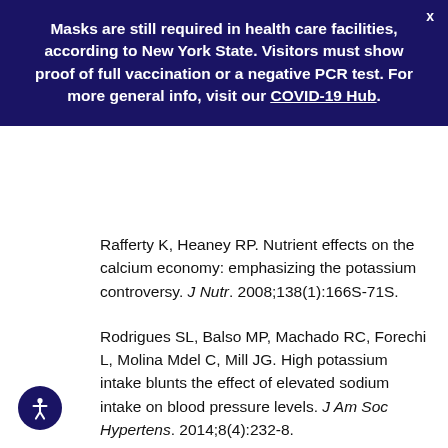Masks are still required in health care facilities, according to New York State. Visitors must show proof of full vaccination or a negative PCR test. For more general info, visit our COVID-19 Hub.
Rafferty K, Heaney RP. Nutrient effects on the calcium economy: emphasizing the potassium controversy. J Nutr. 2008;138(1):166S-71S.
Rodrigues SL, Balso MP, Machado RC, Forechi L, Molina Mdel C, Mill JG. High potassium intake blunts the effect of elevated sodium intake on blood pressure levels. J Am Soc Hypertens. 2014;8(4):232-8.
Seth A, Mossavar-Rahmani Y, Kamensky V, et al. Postassium intake and risk of stroke in women with hypertension and nonhypertension in the Women's Health